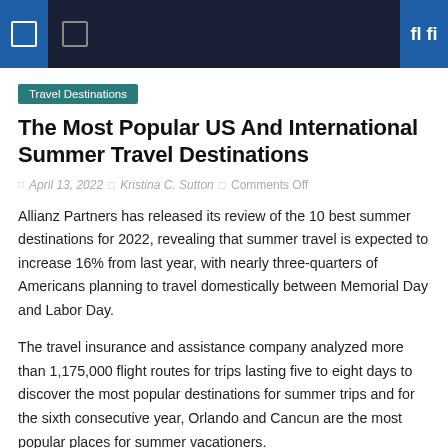Travel Destinations
The Most Popular US And International Summer Travel Destinations
April 13, 2022  |  Kristina C. Sutton  |  Comments Off
Allianz Partners has released its review of the 10 best summer destinations for 2022, revealing that summer travel is expected to increase 16% from last year, with nearly three-quarters of Americans planning to travel domestically between Memorial Day and Labor Day.
The travel insurance and assistance company analyzed more than 1,175,000 flight routes for trips lasting five to eight days to discover the most popular destinations for summer trips and for the sixth consecutive year, Orlando and Cancun are the most popular places for summer vacationers.